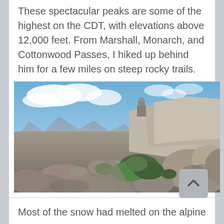These spectacular peaks are some of the highest on the CDT, with elevations above 12,000 feet. From Marshall, Monarch, and Cottonwood Passes, I hiked up behind him for a few miles on steep rocky trails.
[Figure (photo): Rocky mountain peak scene with large granite boulders in foreground, sparse alpine vegetation (green shrubs), distant mountain ridges, and a blue sky with white clouds. A stone structure or cairn is visible on the ridge.]
Most of the snow had melted on the alpine